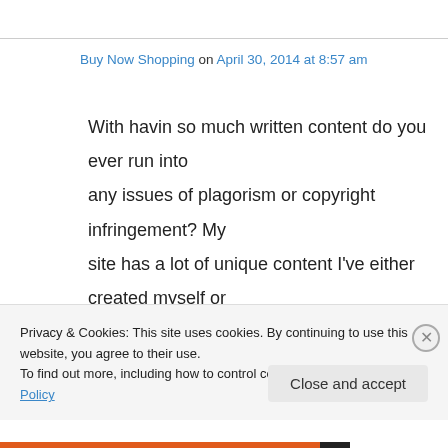Buy Now Shopping on April 30, 2014 at 8:57 am
With havin so much written content do you ever run into any issues of plagorism or copyright infringement? My site has a lot of unique content I've either created myself or outsourced but it appears a lot of it is popping it
Privacy & Cookies: This site uses cookies. By continuing to use this website, you agree to their use.
To find out more, including how to control cookies, see here: Cookie Policy
Close and accept